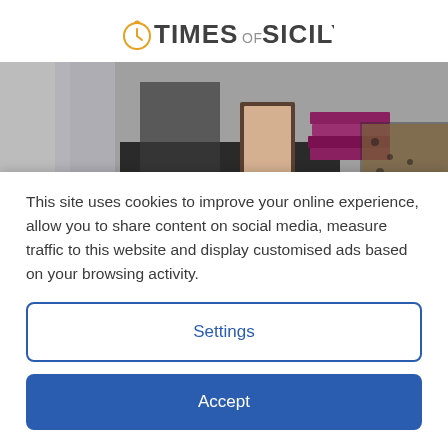TIMES OF SICILY
[Figure (photo): Indoor scene showing people standing around a table with stacked books, a framed picture, and decorative items. A woman in a leopard-print skirt is visible on the right.]
David Healey seated, with novel in hand, Emanuele Viscuso
I stretched out on the rooftop lounge chair at the Sicilian
This site uses cookies to improve your online experience, allow you to share content on social media, measure traffic to this website and display customised ads based on your browsing activity.
Settings
Accept